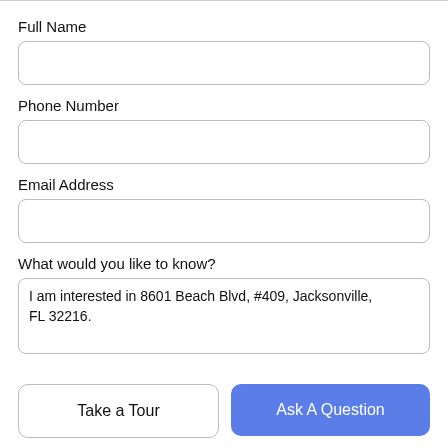Full Name
[Figure (other): Empty text input field for Full Name]
Phone Number
[Figure (other): Empty text input field for Phone Number]
Email Address
[Figure (other): Empty text input field for Email Address]
What would you like to know?
[Figure (other): Textarea with pre-filled text: I am interested in 8601 Beach Blvd, #409, Jacksonville, FL 32216.]
Take a Tour
Ask A Question